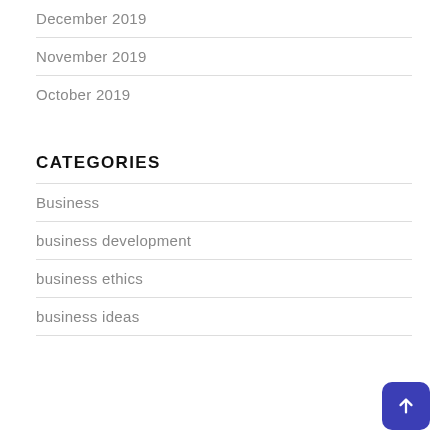December 2019
November 2019
October 2019
CATEGORIES
Business
business development
business ethics
business ideas